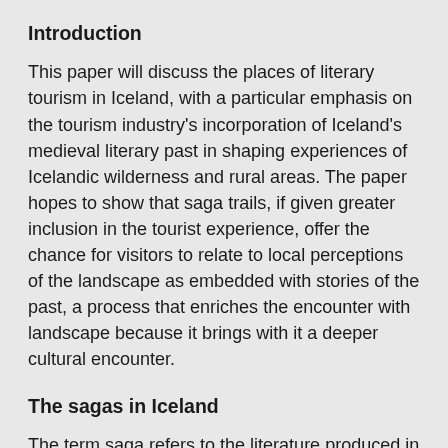Introduction
This paper will discuss the places of literary tourism in Iceland, with a particular emphasis on the tourism industry's incorporation of Iceland's medieval literary past in shaping experiences of Icelandic wilderness and rural areas. The paper hopes to show that saga trails, if given greater inclusion in the tourist experience, offer the chance for visitors to relate to local perceptions of the landscape as embedded with stories of the past, a process that enriches the encounter with landscape because it brings with it a deeper cultural encounter.
The sagas in Iceland
The term saga refers to the literature produced in Iceland predominantly in the thirteenth and fourteenth centuries. During this time, Iceland was a very active literary community, the most famous products of which are the so-called family sagas, that is, stories set in Iceland and dealing in the main with disputes between prominent farming families. The sagas are also known to include descriptions of the land...